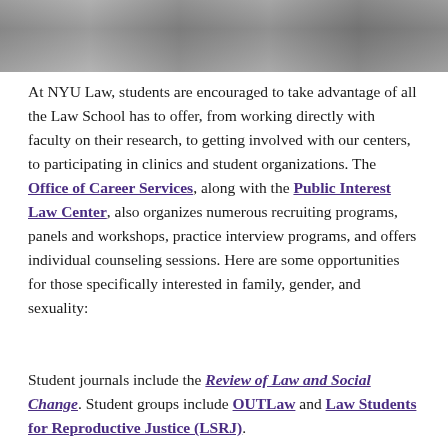[Figure (photo): Photograph of students at NYU Law, partially visible at top of page]
At NYU Law, students are encouraged to take advantage of all the Law School has to offer, from working directly with faculty on their research, to getting involved with our centers, to participating in clinics and student organizations. The Office of Career Services, along with the Public Interest Law Center, also organizes numerous recruiting programs, panels and workshops, practice interview programs, and offers individual counseling sessions. Here are some opportunities for those specifically interested in family, gender, and sexuality:
Student journals include the Review of Law and Social Change. Student groups include OUTLaw and Law Students for Reproductive Justice (LSRJ).